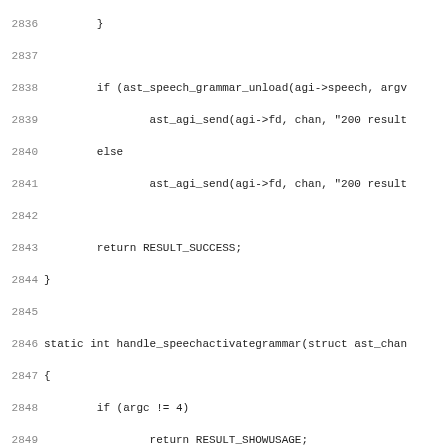Source code listing lines 2836-2867 showing C functions handle_speechunloadgrammar, handle_speechactivategrammar, and handle_speechdeactivategrammar